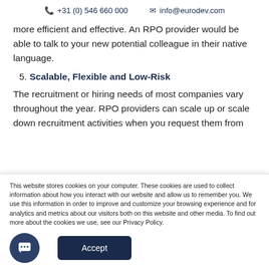📞 +31 (0) 546 660 000   ✉ info@eurodev.com
more efficient and effective. An RPO provider would be able to talk to your new potential colleague in their native language.
5. Scalable, Flexible and Low-Risk
The recruitment or hiring needs of most companies vary throughout the year. RPO providers can scale up or scale down recruitment activities when you request them from them. Furthermore, RPO providers also protect them with
This website stores cookies on your computer. These cookies are used to collect information about how you interact with our website and allow us to remember you. We use this information in order to improve and customize your browsing experience and for analytics and metrics about our visitors both on this website and other media. To find out more about the cookies we use, see our Privacy Policy.